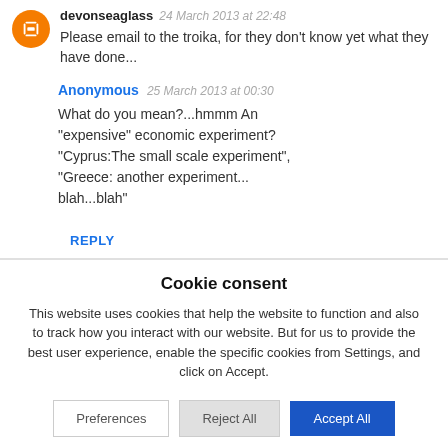devonseaglass 24 March 2013 at 22:48
Please email to the troika, for they don't know yet what they have done...
Anonymous 25 March 2013 at 00:30
What do you mean?...hmmm An "expensive" economic experiment? "Cyprus:The small scale experiment", "Greece: another experiment...blah...blah"
REPLY
Cookie consent
This website uses cookies that help the website to function and also to track how you interact with our website. But for us to provide the best user experience, enable the specific cookies from Settings, and click on Accept.
Preferences
Reject All
Accept All